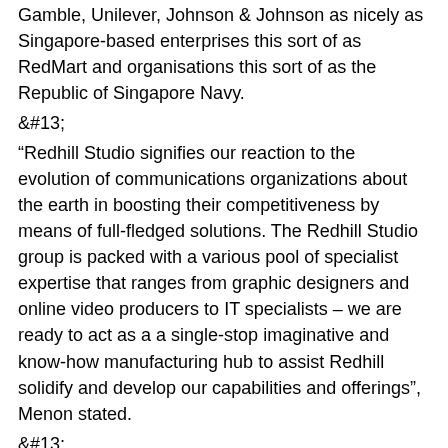Gamble, Unilever, Johnson & Johnson as nicely as Singapore-based enterprises this sort of as RedMart and organisations this sort of as the Republic of Singapore Navy.
&#13;
“Redhill Studio signifies our reaction to the evolution of communications organizations about the earth in boosting their competitiveness by means of full-fledged solutions. The Redhill Studio group is packed with a various pool of specialist expertise that ranges from graphic designers and online video producers to IT specialists – we are ready to act as a a single-stop imaginative and know-how manufacturing hub to assist Redhill solidify and develop our capabilities and offerings”, Menon stated.
&#13;
In addition to performing closely with the broader Redhill groups, Redhill Studio will guide the agency’s provision of innovative providers for Singapore authorities.